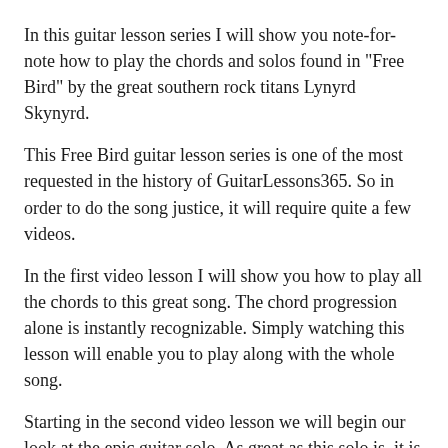In this guitar lesson series I will show you note-for-note how to play the chords and solos found in "Free Bird" by the great southern rock titans Lynyrd Skynyrd.
This Free Bird guitar lesson series is one of the most requested in the history of GuitarLessons365. So in order to do the song justice, it will require quite a few videos.
In the first video lesson I will show you how to play all the chords to this great song. The chord progression alone is instantly recognizable. Simply watching this lesson will enable you to play along with the whole song.
Starting in the second video lesson we will begin our look at the epic guitar solo. As great as this solo is, it is also very long so it will probably take some time to get the whole thing down. However, the entire solo is full of great guitar licks that are not only very musical, but also make great technique exercises when isolated and repeated.
Throughout the guitar solo lessons I will take you note-for-